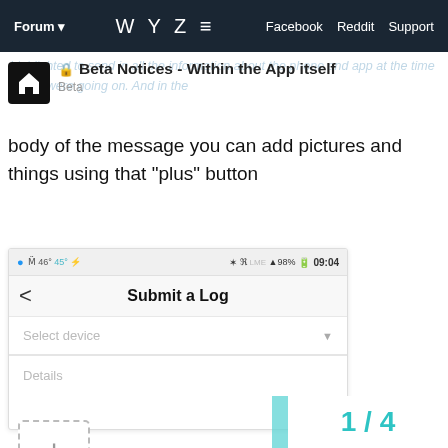Forum  WYZE  Facebook  Reddit  Support
Beta Notices - Within the App itself
Beta
highlighted to send in all the information about the phone and app at the time things were going on. And in the body of the message you can add pictures and things using that "plus" button
[Figure (screenshot): Mobile app screenshot showing 'Submit a Log' screen with a status bar showing 98% battery and 09:04 time, a back arrow, title 'Submit a Log', a 'Select device' dropdown, a 'Details' text area, and a dashed plus button for adding images.]
1 / 4